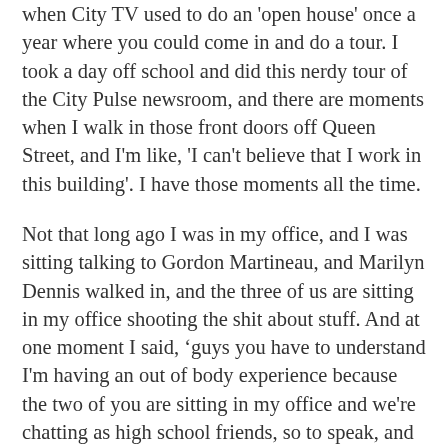when City TV used to do an 'open house' once a year where you could come in and do a tour. I took a day off school and did this nerdy tour of the City Pulse newsroom, and there are moments when I walk in those front doors off Queen Street, and I'm like, 'I can't believe that I work in this building'. I have those moments all the time.
Not that long ago I was in my office, and I was sitting talking to Gordon Martineau, and Marilyn Dennis walked in, and the three of us are sitting in my office shooting the shit about stuff. And at one moment I said, ‘guys you have to understand I'm having an out of body experience because the two of you are sitting in my office and we're chatting as high school friends, so to speak, and my mind is going somewhere else.’
To have a boss like Randy Lennox, who actually has a music background, can bridge those divergent worlds. Music and entertainment and media.